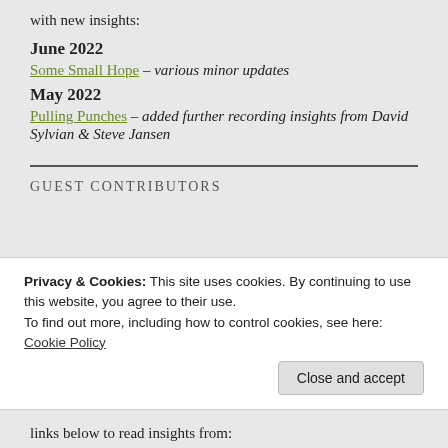with new insights:
June 2022
Some Small Hope – various minor updates
May 2022
Pulling Punches – added further recording insights from David Sylvian & Steve Jansen
GUEST CONTRIBUTORS
Privacy & Cookies: This site uses cookies. By continuing to use this website, you agree to their use.
To find out more, including how to control cookies, see here:
Cookie Policy
Close and accept
links below to read insights from: